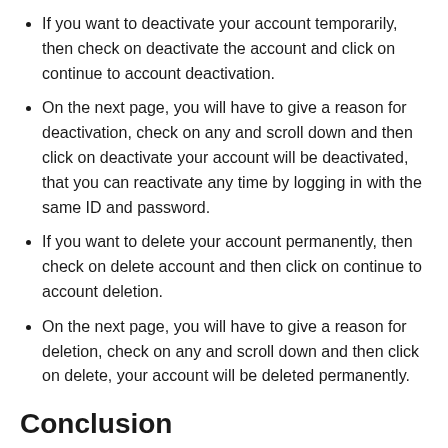If you want to deactivate your account temporarily, then check on deactivate the account and click on continue to account deactivation.
On the next page, you will have to give a reason for deactivation, check on any and scroll down and then click on deactivate your account will be deactivated, that you can reactivate any time by logging in with the same ID and password.
If you want to delete your account permanently, then check on delete account and then click on continue to account deletion.
On the next page, you will have to give a reason for deletion, check on any and scroll down and then click on delete, your account will be deleted permanently.
Conclusion